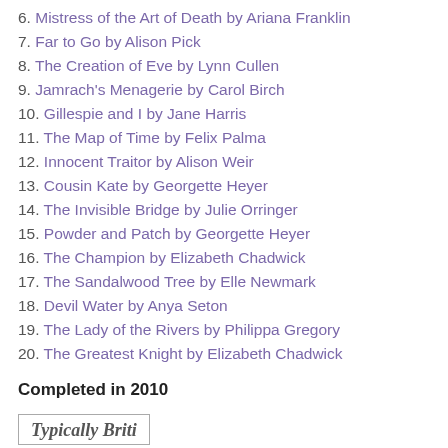6. Mistress of the Art of Death by Ariana Franklin
7. Far to Go by Alison Pick
8. The Creation of Eve by Lynn Cullen
9. Jamrach's Menagerie by Carol Birch
10. Gillespie and I by Jane Harris
11. The Map of Time by Felix Palma
12. Innocent Traitor by Alison Weir
13. Cousin Kate by Georgette Heyer
14. The Invisible Bridge by Julie Orringer
15. Powder and Patch by Georgette Heyer
16. The Champion by Elizabeth Chadwick
17. The Sandalwood Tree by Elle Newmark
18. Devil Water by Anya Seton
19. The Lady of the Rivers by Philippa Gregory
20. The Greatest Knight by Elizabeth Chadwick
Completed in 2010
[Figure (other): Partially visible box with bold italic serif text beginning 'Typically British']